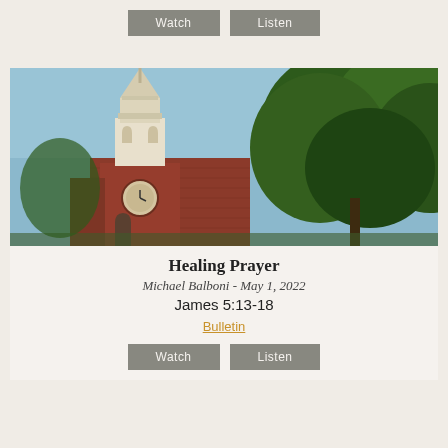[Figure (other): Watch and Listen buttons for previous sermon]
[Figure (photo): Photograph of a red brick church with a white steeple and green trees against a blue sky]
Healing Prayer
Michael Balboni - May 1, 2022
James 5:13-18
Bulletin
[Figure (other): Watch and Listen buttons for current sermon]